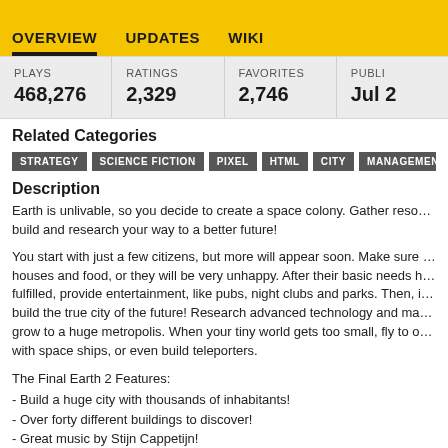OVERVIEW   UPDATES   WIKI
| PLAYS | RATINGS | FAVORITES | PUBLI… |
| --- | --- | --- | --- |
| 468,276 | 2,329 | 2,746 | Jul 2… |
Related Categories
STRATEGY   SCIENCE FICTION   PIXEL   HTML   CITY   MANAGEMENT   BUILD…
Description
Earth is unlivable, so you decide to create a space colony. Gather resources, build and research your way to a better future!
You start with just a few citizens, but more will appear soon. Make sure they have houses and food, or they will be very unhappy. After their basic needs have been fulfilled, provide entertainment, like pubs, night clubs and parks. Then, it's time to build the true city of the future! Research advanced technology and make your city grow to a huge metropolis. When your tiny world gets too small, fly to other worlds with space ships, or even build teleporters.
The Final Earth 2 Features:
- Build a huge city with thousands of inhabitants!
- Over forty different buildings to discover!
- Great music by Stijn Cappetijn!